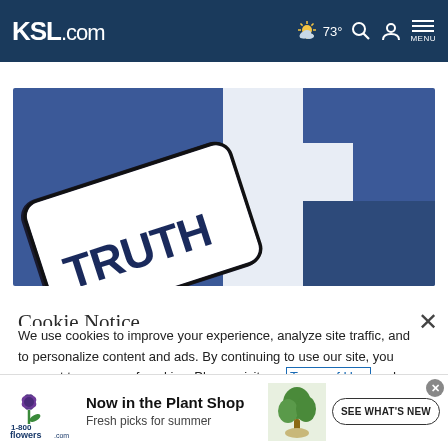KSL.com — 73° weather, search, account, menu icons
[Figure (screenshot): Screenshot of a smartphone showing the Truth Social app logo (white rounded rectangle with dark blue TRUTH text) against a Facebook logo background (blue with white letter F)]
Cookie Notice
We use cookies to improve your experience, analyze site traffic, and to personalize content and ads. By continuing to use our site, you consent to our use of cookies. Please visit our Terms of Use and Privacy Policy for more information
[Figure (other): 1-800-Flowers.com advertisement banner: Now in the Plant Shop — Fresh picks for summer, with plant image and SEE WHAT'S NEW button]